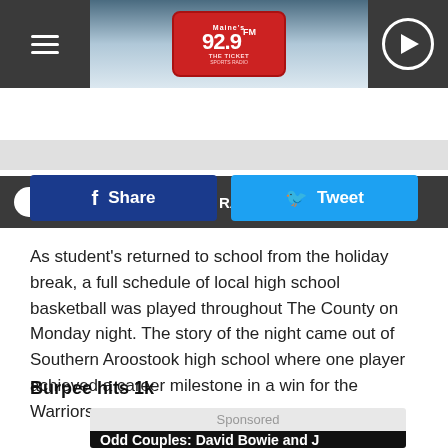92.9 FM The Ticket — ESPN Radio
LISTEN NOW ▶  ESPN RADIO
[Figure (screenshot): Facebook Share button (blue) and Twitter Tweet button (light blue) side by side]
As student's returned to school from the holiday break, a full schedule of local high school basketball was played throughout The County on Monday night. The story of the night came out of Southern Aroostook high school where one player achieved a career milestone in a win for the Warriors.
Burpee hits 1k
Sponsored
Odd Couples: David Bowie and J